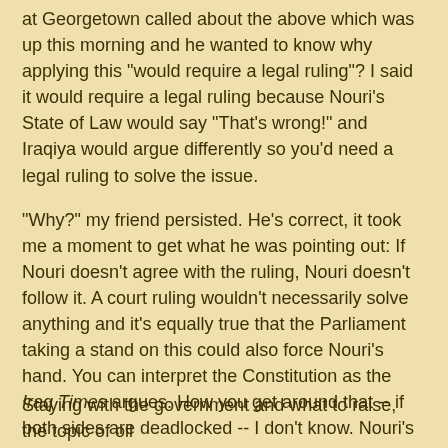at Georgetown called about the above which was up this morning and he wanted to know why applying this "would require a legal ruling"?  I said it would require a legal ruling because Nouri's State of Law would say "That's wrong!" and Iraqiya would argue differently so you'd need a legal ruling to solve the issue.
"Why?"  my friend persisted.  He's correct, it took me a moment to get what he was pointing out: If Nouri doesn't agree with the ruling, Nouri doesn't follow it.  A court ruling wouldn't necessarily solve anything and it's equally true that the Parliament taking a stand on this could also force Nouri's hand.  You can interpret the Constitution as the Iraq Times argues.  How you get around that -- if both sides are deadlocked -- I don't know.  Nouri's State of Law is already attacking the United Nations because UN Secretary-General's Special Envoy to Iraq, Martin Kobler, has been meeting with protesters in an attempt to start a national dialogue.
Staying with the government and what to raise, the topic of oil